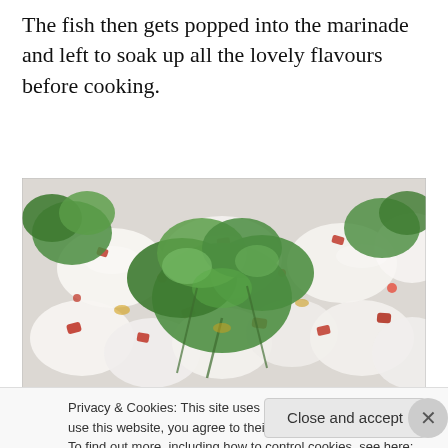The fish then gets popped into the marinade and left to soak up all the lovely flavours before cooking.
[Figure (photo): Close-up photo of white fish pieces (possibly scallops or white fish fillets) marinated with red chili pieces and fresh cilantro/coriander leaves on top, styled as a food photograph.]
Privacy & Cookies: This site uses cookies. By continuing to use this website, you agree to their use.
To find out more, including how to control cookies, see here: Cookie Policy
Close and accept